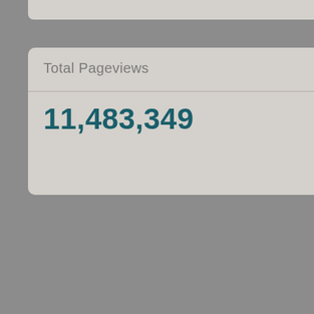Total Pageviews
11,483,349
Sprinkle pecan piece
4.  Form the rolls:  T shape the dough int sugar, butter, cinnam dough into thirds like thirds one more time out to a 16 x 12 inch surface and roll up, s nuts & caramel in the hour).  While the roll
5.  Bake the rolls: W deep golden brown a 190°F, about 28-35 m large cookie sheet, m minutes before servi Makes 6 rolls